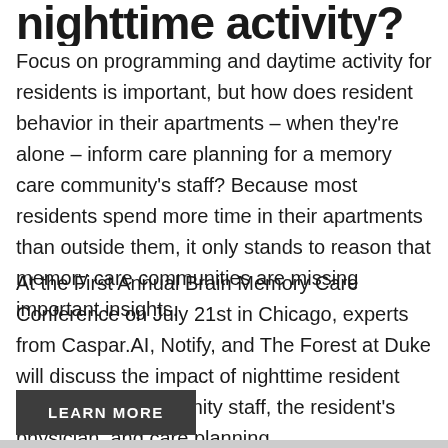… nighttime activity?
Focus on programming and daytime activity for residents is important, but how does resident behavior in their apartments – when they're alone – inform care planning for a memory care community's staff? Because most residents spend more time in their apartments than outside them, it only stands to reason that memory care communities are missing important insights.
At the First Annual Brain Memory Care Conference on July 21st in Chicago, experts from Caspar.AI, Notify, and The Forest at Duke will discuss the impact of nighttime resident behavior on community staff, the resident's physician, and care planning.
LEARN MORE